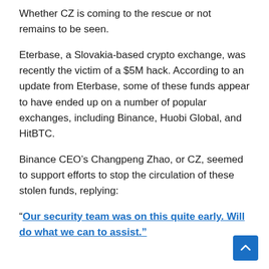Whether CZ is coming to the rescue or not remains to be seen.
Eterbase, a Slovakia-based crypto exchange, was recently the victim of a $5M hack. According to an update from Eterbase, some of these funds appear to have ended up on a number of popular exchanges, including Binance, Huobi Global, and HitBTC.
Binance CEO’s Changpeng Zhao, or CZ, seemed to support efforts to stop the circulation of these stolen funds, replying:
“Our security team was on this quite early. Will do what we can to assist.”